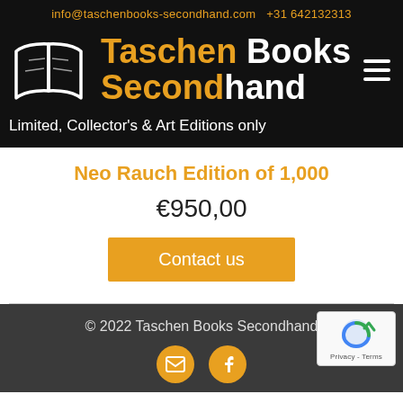info@taschenbooks-secondhand.com   +31 642132313
[Figure (logo): Open book icon in white outline on black background, alongside brand name Taschen Books Secondhand with Taschen and Second in orange]
Limited, Collector's & Art Editions only
Neo Rauch Edition of 1,000
€950,00
Contact us
© 2022 Taschen Books Secondhand